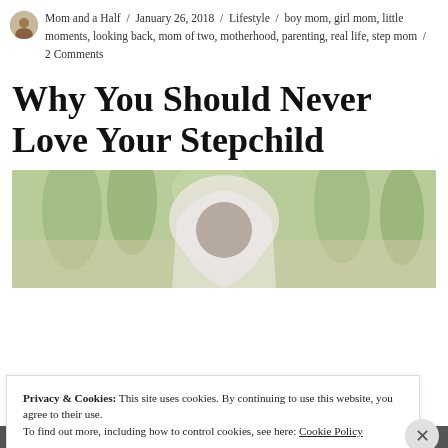Mom and a Half / January 26, 2018 / Lifestyle / boy mom, girl mom, little moments, looking back, mom of two, motherhood, parenting, real life, step mom / 2 Comments
Why You Should Never Love Your Stepchild
[Figure (photo): A woman seen from behind wearing a wedding veil, surrounded by trees with soft bokeh background]
Privacy & Cookies: This site uses cookies. By continuing to use this website, you agree to their use.
To find out more, including how to control cookies, see here: Cookie Policy
Close and accept